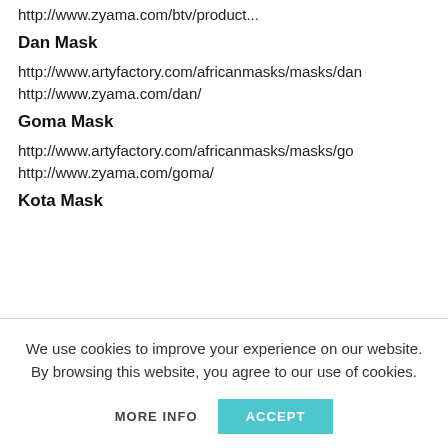http://www.zyama.com/btv/product...
Dan Mask
http://www.artyfactory.com/africanmasks/masks/dan
http://www.zyama.com/dan/
Goma Mask
http://www.artyfactory.com/africanmasks/masks/go
http://www.zyama.com/goma/
Kota Mask
We use cookies to improve your experience on our website. By browsing this website, you agree to our use of cookies.
MORE INFO   ACCEPT